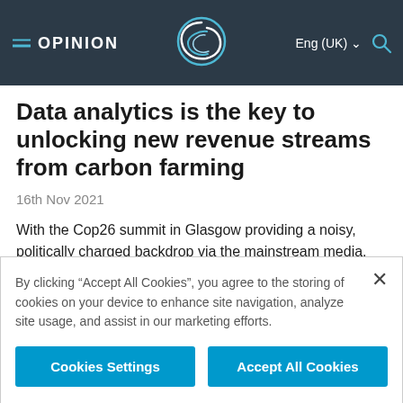OPINION
Data analytics is the key to unlocking new revenue streams from carbon farming
16th Nov 2021
With the Cop26 summit in Glasgow providing a noisy, politically charged backdrop via the mainstream media, there was a real sense of
By clicking “Accept All Cookies”, you agree to the storing of cookies on your device to enhance site navigation, analyze site usage, and assist in our marketing efforts.